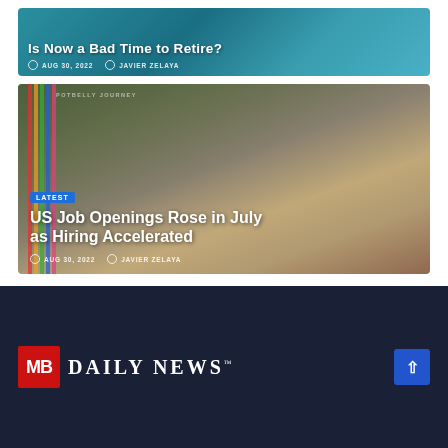Is Now a Bad Time to Retire?
AUG 30, 2022  JAVIER ZELAYA
[Figure (photo): Featured image for job openings article showing Potbelly Journey Now Hiring sign with blurred person in background]
LATEST
US Job Openings Rose in July as Hiring Accelerated
AUG 30, 2022  JAVIER ZELAYA
MB DAILY NEWS